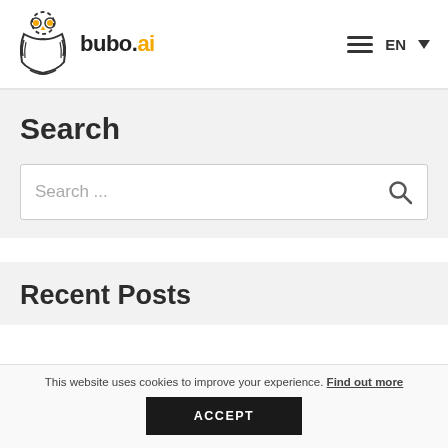[Figure (logo): Bubo.ai owl logo with stylized owl face and wings in black and gold, with text 'bubo.ai' where 'bubo.' is dark and 'ai' is gold/yellow]
Search
Search ...
Recent Posts
This website uses cookies to improve your experience. Find out more
ACCEPT